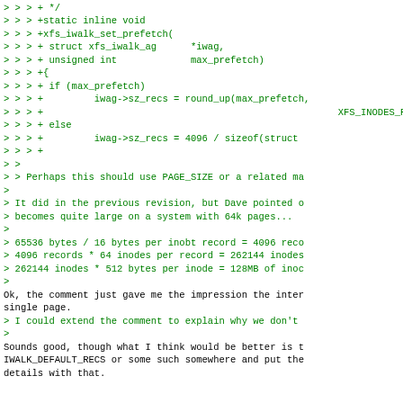> > > + */
> > > +static inline void
> > > +xfs_iwalk_set_prefetch(
> > > + struct xfs_iwalk_ag      *iwag,
> > > + unsigned int             max_prefetch)
> > > +{
> > > + if (max_prefetch)
> > > +         iwag->sz_recs = round_up(max_prefetch,
> > > +                                                    XFS_INODES_PE
> > > + else
> > > +         iwag->sz_recs = 4096 / sizeof(struct
> > > +
> >
> > Perhaps this should use PAGE_SIZE or a related ma
>
> It did in the previous revision, but Dave pointed o
> becomes quite large on a system with 64k pages...
>
> 65536 bytes / 16 bytes per inobt record = 4096 reco
> 4096 records * 64 inodes per record = 262144 inodes
> 262144 inodes * 512 bytes per inode = 128MB of inoc
>
Ok, the comment just gave me the impression the inter
single page.
> I could extend the comment to explain why we don't
>
Sounds good, though what I think would be better is t
IWALK_DEFAULT_RECS or some such somewhere and put the
details with that.